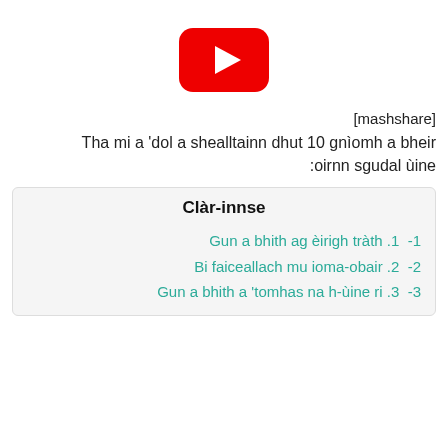[Figure (logo): YouTube logo — red rounded rectangle with white play triangle]
[mashshare]
Tha mi a 'dol a shealltainn dhut 10 gnìomh a bheir oirnn sgudal ùine:
Clàr-innse
-1  .1 Gun a bhith ag èirigh tràth
-2  .2 Bi faiceallach mu ioma-obair
-3  .3 Gun a bhith a 'tomhas na h-ùine ri